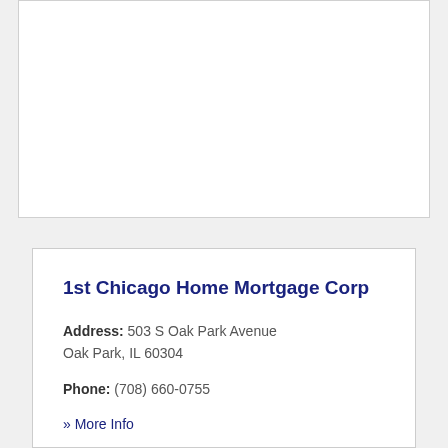1st Chicago Home Mortgage Corp
Address: 503 S Oak Park Avenue Oak Park, IL 60304
Phone: (708) 660-0755
» More Info